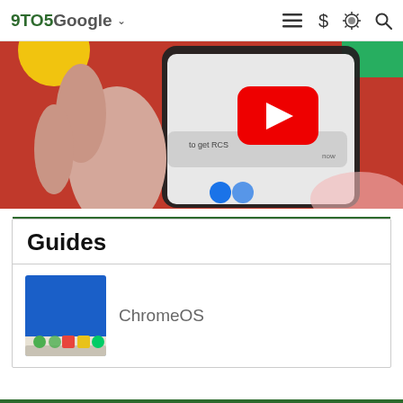9TO5Google
[Figure (screenshot): A hand holding a smartphone displaying a YouTube video thumbnail and a notification about RCS on a colorful background.]
Guides
[Figure (screenshot): ChromeOS laptop taskbar with app icons on a blue background.]
ChromeOS